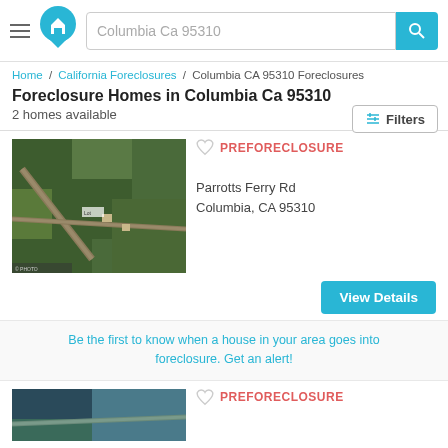Columbia Ca 95310 — search header with logo and search bar
Home / California Foreclosures / Columbia CA 95310 Foreclosures
Foreclosure Homes in Columbia Ca 95310
2 homes available
[Figure (screenshot): Aerial satellite map view of Parrotts Ferry Rd, Columbia CA 95310]
PREFORECLOSURE
Parrotts Ferry Rd
Columbia, CA 95310
View Details
Be the first to know when a house in your area goes into foreclosure. Get an alert!
[Figure (screenshot): Aerial satellite map view of second property listing]
PREFORECLOSURE